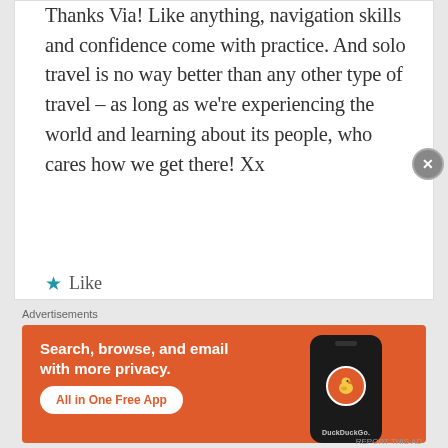Thanks Via! Like anything, navigation skills and confidence come with practice. And solo travel is no way better than any other type of travel – as long as we're experiencing the world and learning about its people, who cares how we get there! Xx
★ Like
Reply →
Advertisements
[Figure (screenshot): DuckDuckGo advertisement banner with orange background. Left side shows bold white text: 'Search, browse, and email with more privacy.' with a white rounded button 'All in One Free App'. Right side shows a dark smartphone with DuckDuckGo logo (duck icon in orange circle) and 'DuckDuckGo.' brand text.]